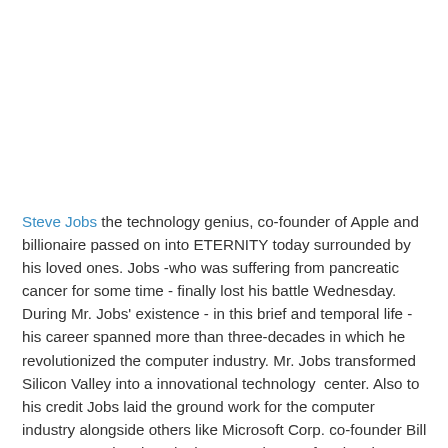Steve Jobs the technology genius, co-founder of Apple and billionaire passed on into ETERNITY today surrounded by his loved ones. Jobs -who was suffering from pancreatic cancer for some time - finally lost his battle Wednesday. During Mr. Jobs' existence - in this brief and temporal life - his career spanned more than three-decades in which he revolutionized the computer industry. Mr. Jobs transformed Silicon Valley into a innovational technology  center. Also to his credit Jobs laid the ground work for the computer industry alongside others like Microsoft Corp. co-founder Bill Gates. Mr. Jobs played a huge part in transforming the way the world interacts with technology and his Apple products were...